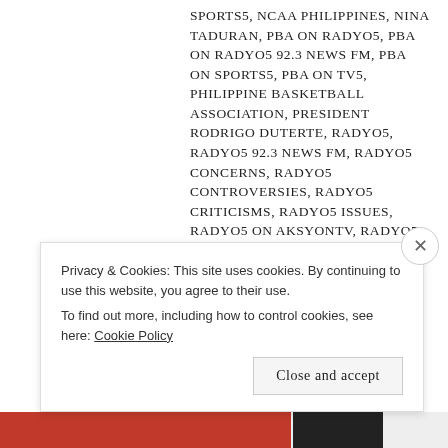SPORTS5, NCAA PHILIPPINES, NINA TADURAN, PBA ON RADYO5, PBA ON RADYO5 92.3 NEWS FM, PBA ON SPORTS5, PBA ON TV5, PHILIPPINE BASKETBALL ASSOCIATION, PRESIDENT RODRIGO DUTERTE, RADYO5, RADYO5 92.3 NEWS FM, RADYO5 CONCERNS, RADYO5 CONTROVERSIES, RADYO5 CRITICISMS, RADYO5 ISSUES, RADYO5 ON AKSYONTV, RADYO5 PROBLEMS, RADYO5 SIMULCAST ON AKSYONTV, RADYO5-AKSYONTV SIMULCAST, RAFFY TULFO, SENATE HEARING ON EXTRAJUDICIAL KILLINGS 2016, SUPER RADYO DZBB 594, THE PHILIPPINE STAR, TV5 | 20 COMMENTS
Privacy & Cookies: This site uses cookies. By continuing to use this website, you agree to their use. To find out more, including how to control cookies, see here: Cookie Policy